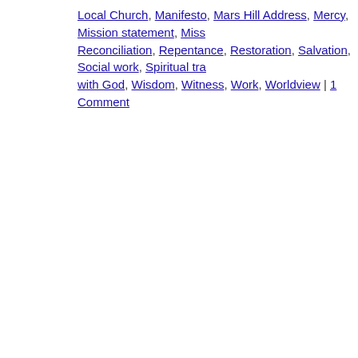Local Church, Manifesto, Mars Hill Address, Mercy, Mission statement, Miss[ion?], Reconciliation, Repentance, Restoration, Salvation, Social work, Spiritual tra[nsformation] with God, Wisdom, Witness, Work, Worldview | 1 Comment